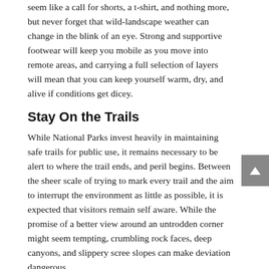seem like a call for shorts, a t-shirt, and nothing more, but never forget that wild-landscape weather can change in the blink of an eye. Strong and supportive footwear will keep you mobile as you move into remote areas, and carrying a full selection of layers will mean that you can keep yourself warm, dry, and alive if conditions get dicey.
Stay On the Trails
While National Parks invest heavily in maintaining safe trails for public use, it remains necessary to be alert to where the trail ends, and peril begins. Between the sheer scale of trying to mark every trail and the aim to interrupt the environment as little as possible, it is expected that visitors remain self aware. While the promise of a better view around an untrodden corner might seem tempting, crumbling rock faces, deep canyons, and slippery scree slopes can make deviation dangerous.